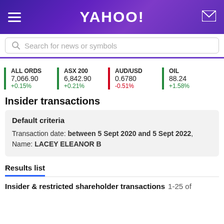YAHOO!
Search for news or symbols
ALL ORDS 7,066.90 +0.15%
ASX 200 6,842.90 +0.21%
AUD/USD 0.6780 -0.51%
OIL 88.24 +1.58%
Insider transactions
Default criteria
Transaction date: between 5 Sept 2020 and 5 Sept 2022, Name: LACEY ELEANOR B
Results list
Insider & restricted shareholder transactions 1-25 of